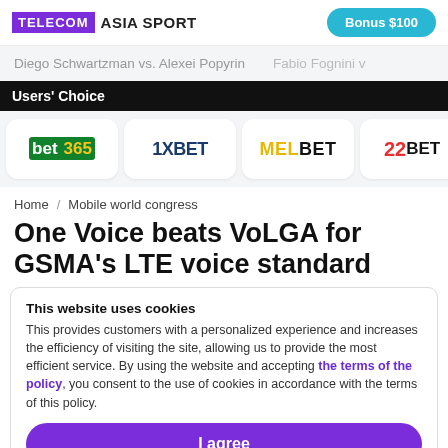TELECOM ASIA SPORT | Bonus $100
Diego Schwartzman vs. Alexei Popyrin   Fabio Fognini v
Users' Choice
[Figure (logo): Bookmaker logos row: bet365, 1XBET, MELBET, 22BET]
Home / Mobile world congress
One Voice beats VoLGA for GSMA's LTE voice standard
This website uses cookies
This provides customers with a personalized experience and increases the efficiency of visiting the site, allowing us to provide the most efficient service. By using the website and accepting the terms of the policy, you consent to the use of cookies in accordance with the terms of this policy.
I agree